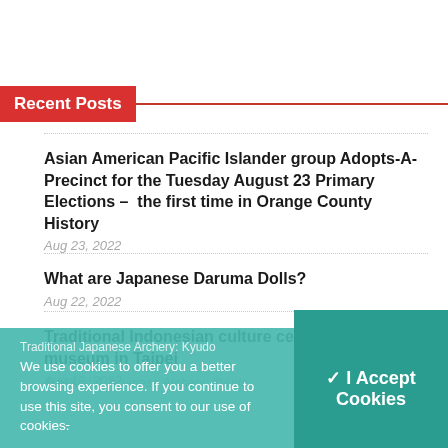Recent Posts
Asian American Pacific Islander group Adopts-A-Precinct for the Tuesday August 23 Primary Elections – the first time in Orange County History
Aug 23, 2022
What are Japanese Daruma Dolls?
Aug 22, 2022
Traditional Indonesian culture celebrated at museum in Taipei
Aug 19, 2022
We use cookies to offer you a better browsing experience. If you continue to use this site, you consent to our use of cookies.
✓ I Accept Cookies